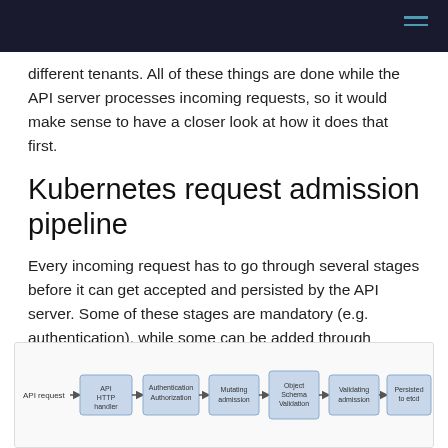different tenants. All of these things are done while the API server processes incoming requests, so it would make sense to have a closer look at how it does that first.
Kubernetes request admission pipeline
Every incoming request has to go through several stages before it can get accepted and persisted by the API server. Some of these stages are mandatory (e.g. authentication), while some can be added through webhooks. The following diagram comes from another blogpost that covers each one of these stages in detail:
[Figure (flowchart): Kubernetes request admission pipeline diagram showing: API request → API HTTP handler → Authentication Authorization → Mutating admission → Object Schema Validation → Validating admission → Persisted to etcd]